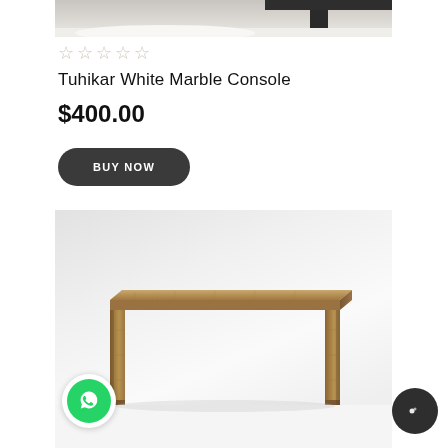[Figure (photo): Top portion of a console table product image showing black metal frame against a light background]
☆☆☆☆☆
Tuhikar White Marble Console
$400.00
BUY NOW
[Figure (photo): Wooden console/dining table with natural wood finish, rectangular top and solid wood panel legs, on white background]